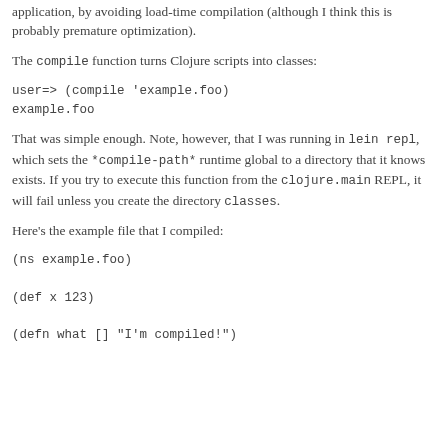that you can invoke that class from Java (note that you'll still need the Clojure JAR on your classpath). Or so that you can reduce startup time for a Clojure application, by avoiding load-time compilation (although I think this is probably premature optimization).
The compile function turns Clojure scripts into classes:
That was simple enough. Note, however, that I was running in lein repl, which sets the *compile-path* runtime global to a directory that it knows exists. If you try to execute this function from the clojure.main REPL, it will fail unless you create the directory classes.
Here's the example file that I compiled: